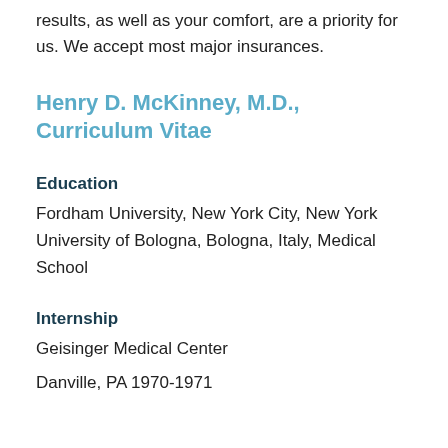results, as well as your comfort, are a priority for us. We accept most major insurances.
Henry D. McKinney, M.D., Curriculum Vitae
Education
Fordham University, New York City, New York University of Bologna, Bologna, Italy, Medical School
Internship
Geisinger Medical Center
Danville, PA 1970-1971